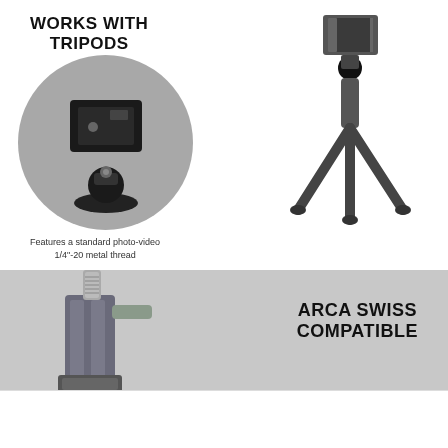WORKS WITH TRIPODS
[Figure (photo): Close-up circular inset showing a phone mount bottom with a standard 1/4"-20 metal thread ball head connector]
[Figure (photo): Full photo of a mini tripod with ball head and smartphone mount holder]
Features a standard photo-video 1/4"-20 metal thread
[Figure (photo): Photo of an Arca Swiss compatible clamp mount accessory]
ARCA SWISS COMPATIBLE
Accept and Close ×
Your browser settings do not allow cross-site tracking for advertising. Click on this page to allow AdRoll to use cross-site tracking to tailor ads to you. Learn more or opt out of this AdRoll tracking by clicking here. This message only appears once.